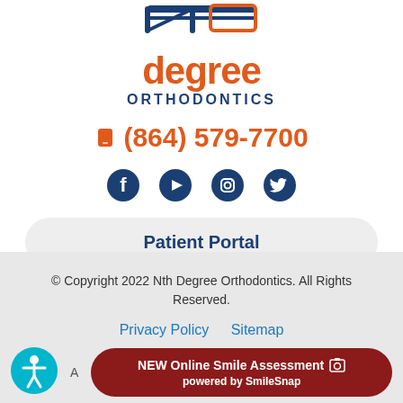[Figure (logo): Nth Degree Orthodontics logo with 'degree' in orange and 'ORTHODONTICS' in blue, partial top of logo visible]
(864) 579-7700
[Figure (infographic): Social media icons: Facebook, YouTube, Instagram, Twitter in dark blue]
Patient Portal
© Copyright 2022 Nth Degree Orthodontics. All Rights Reserved. Privacy Policy Sitemap
[Figure (infographic): Accessibility icon circle (teal/cyan) and red pill button: NEW Online Smile Assessment powered by SmileSnap]